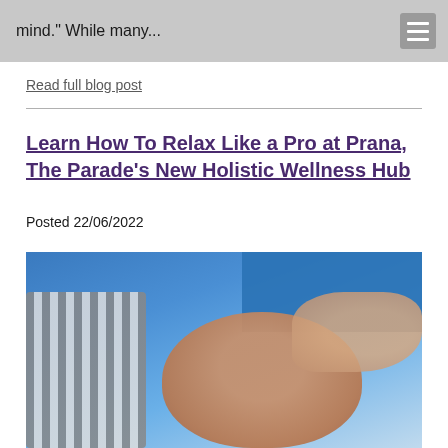mind." While many...
Read full blog post
Learn How To Relax Like a Pro at Prana, The Parade's New Holistic Wellness Hub
Posted 22/06/2022
[Figure (photo): A person lying down receiving a head massage from a therapist, with striped and blue patterned pillows visible in the background.]